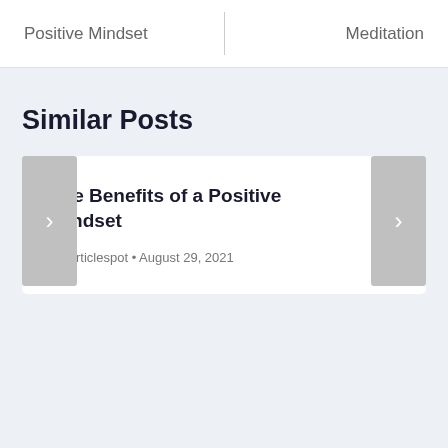Positive Mindset | Meditation
Similar Posts
The Benefits of a Positive Mindset
By articlespot • August 29, 2021